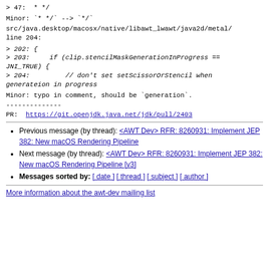> 47:  * */
Minor: `* */` --> `*/`
src/java.desktop/macosx/native/libawt_lwawt/java2d/metal/
line 204:
> 202: {
> 203:     if (clip.stencilMaskGenerationInProgress ==
JNI_TRUE) {
> 204:         // don't set setScissorOrStencil when
generateion in progress
Minor: typo in comment, should be `generation`.
--------------
PR:  https://git.openjdk.java.net/jdk/pull/2403
Previous message (by thread): <AWT Dev> RFR: 8260931: Implement JEP 382: New macOS Rendering Pipeline
Next message (by thread): <AWT Dev> RFR: 8260931: Implement JEP 382: New macOS Rendering Pipeline [v3]
Messages sorted by: [ date ] [ thread ] [ subject ] [ author ]
More information about the awt-dev mailing list